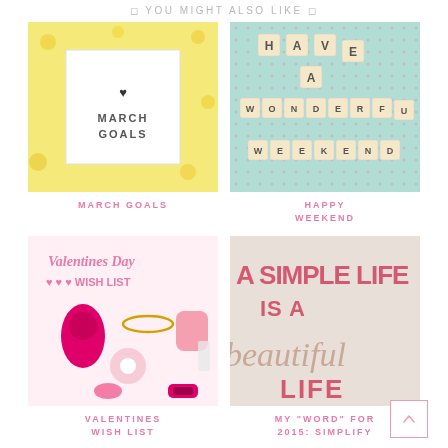◻ YOU MIGHT ALSO LIKE ◻
[Figure (photo): March Goals flat lay photo with flowers on yellow background and a card reading MARCH GOALS]
[Figure (photo): Scrabble tiles arranged to spell HAVE A WONDERFUL WEEKEND on a patterned background]
MARCH GOALS
HAPPY WEEKEND
[Figure (photo): Valentines Day Wish List collage with beauty gadgets, bracelet, flowers, pink clothing, bra, and fitness tracker]
[Figure (photo): Text graphic: A SIMPLE LIFE IS A beautiful LIFE in pink and beige]
VALENTINES WISH LIST
MY "WORD" FOR 2015: SIMPLIFY